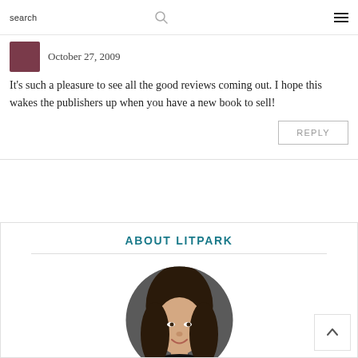search  [search icon]  [hamburger menu]
October 27, 2009
It's such a pleasure to see all the good reviews coming out. I hope this wakes the publishers up when you have a new book to sell!
REPLY
ABOUT LITPARK
[Figure (photo): Circular portrait photo of a woman with long dark hair, smiling, against a dark gray background.]